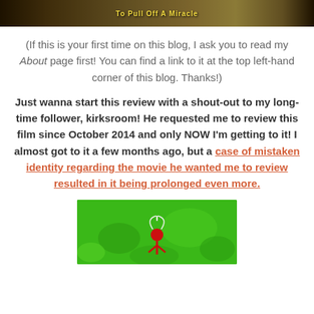[Figure (photo): Top banner image with yellow text 'To Pull Off A Miracle' on a dark background with characters]
(If this is your first time on this blog, I ask you to read my About page first! You can find a link to it at the top left-hand corner of this blog. Thanks!)
Just wanna start this review with a shout-out to my long-time follower, kirksroom! He requested me to review this film since October 2014 and only NOW I'm getting to it! I almost got to it a few months ago, but a case of mistaken identity regarding the movie he wanted me to review resulted in it being prolonged even more.
[Figure (photo): Green background with a small animated red character figure, partial view]